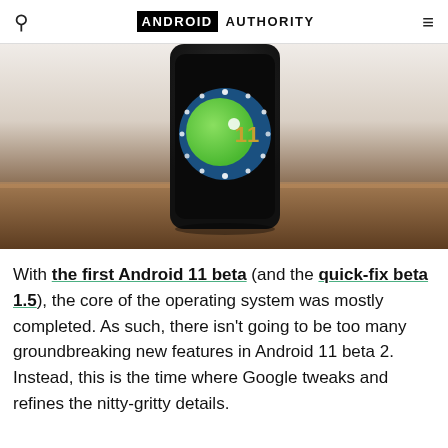ANDROID AUTHORITY
[Figure (photo): A smartphone standing upright on a wooden surface displaying the Android 11 logo — a dark blue circle with a green planet and the number 11 in gold, surrounded by white dots on a dark background, against a light background.]
With the first Android 11 beta (and the quick-fix beta 1.5), the core of the operating system was mostly completed. As such, there isn't going to be too many groundbreaking new features in Android 11 beta 2. Instead, this is the time where Google tweaks and refines the nitty-gritty details.